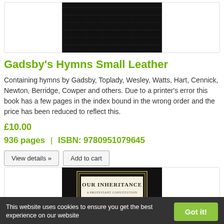[Figure (photo): Black leather book cover, top portion cropped]
Gadsby's Hymns Small Leather
Containing hymns by Gadsby, Toplady, Wesley, Watts, Hart, Cennick, Newton, Berridge, Cowper and others. Due to a printer's error this book has a few pages in the index bound in the wrong order and the price has been reduced to reflect this.
£10.00
936 pages  |  ISBN: 9780951079645
View details »
Add to cart
[Figure (photo): Book cover for 'Our Inheritance: A Protestant Constitution' on black background]
This website uses cookies to ensure you get the best experience on our website
Got it!